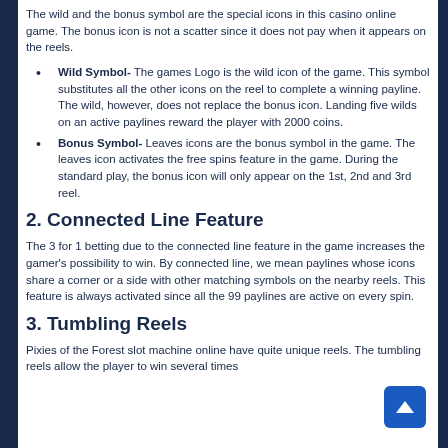The wild and the bonus symbol are the special icons in this casino online game. The bonus icon is not a scatter since it does not pay when it appears on the reels.
Wild Symbol- The games Logo is the wild icon of the game. This symbol substitutes all the other icons on the reel to complete a winning payline. The wild, however, does not replace the bonus icon. Landing five wilds on an active paylines reward the player with 2000 coins.
Bonus Symbol- Leaves icons are the bonus symbol in the game. The leaves icon activates the free spins feature in the game. During the standard play, the bonus icon will only appear on the 1st, 2nd and 3rd reel.
2. Connected Line Feature
The 3 for 1 betting due to the connected line feature in the game increases the gamer's possibility to win. By connected line, we mean paylines whose icons share a corner or a side with other matching symbols on the nearby reels. This feature is always activated since all the 99 paylines are active on every spin.
3. Tumbling Reels
Pixies of the Forest slot machine online have quite unique reels. The tumbling reels allow the player to win several times